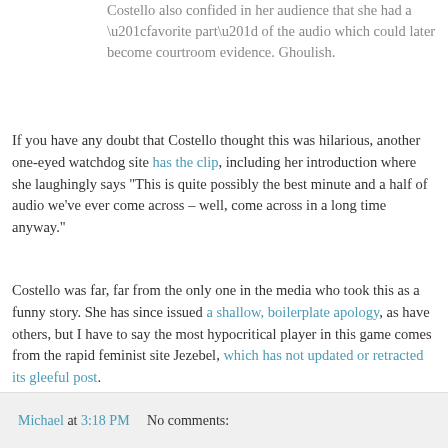Costello also confided in her audience that she had a “favorite part” of the audio which could later become courtroom evidence. Ghoulish.
If you have any doubt that Costello thought this was hilarious, another one-eyed watchdog site has the clip, including her introduction where she laughingly says "This is quite possibly the best minute and a half of audio we’ve ever come across – well, come across in a long time anyway."
Costello was far, far from the only one in the media who took this as a funny story. She has since issued a shallow, boilerplate apology, as have others, but I have to say the most hypocritical player in this game comes from the rapid feminist site Jezebel, which has not updated or retracted its gleeful post.
Michael at 3:18 PM    No comments: